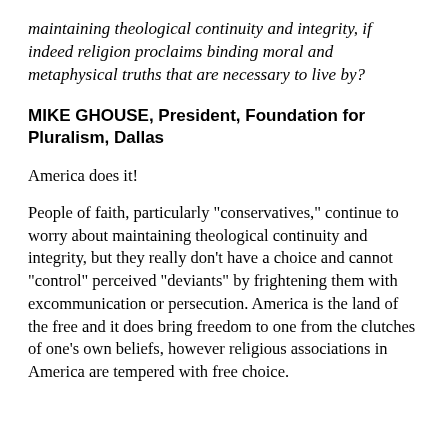maintaining theological continuity and integrity, if indeed religion proclaims binding moral and metaphysical truths that are necessary to live by?
MIKE GHOUSE, President, Foundation for Pluralism, Dallas
America does it!
People of faith, particularly "conservatives," continue to worry about maintaining theological continuity and integrity, but they really don't have a choice and cannot "control" perceived "deviants" by frightening them with excommunication or persecution. America is the land of the free and it does bring freedom to one from the clutches of one's own beliefs, however religious associations in America are tempered with free choice.